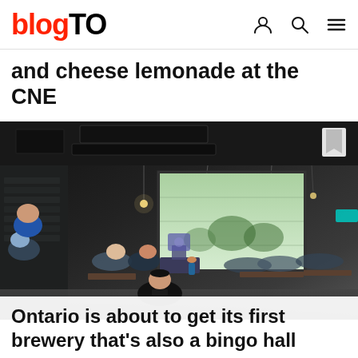blogTO
and cheese lemonade at the CNE
[Figure (photo): Interior of a brewery taproom/event hall with people seated at tables. Dark industrial ceiling with exposed ducts and hanging Edison bulb lights. A large open garage door at the back lets in natural light. A speaker stands at the front near a branded podium. Crowd of adults seated throughout the space.]
Ontario is about to get its first brewery that's also a bingo hall